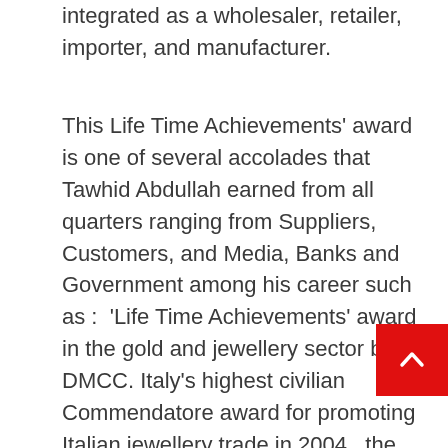integrated as a wholesaler, retailer, importer, and manufacturer.
This Life Time Achievements' award is one of several accolades that Tawhid Abdullah earned from all quarters ranging from Suppliers, Customers, and Media, Banks and Government among his career such as : 'Life Time Achievements' award in the gold and jewellery sector by DMCC. Italy's highest civilian Commendatore award for promoting Italian jewellery trade in 2004 , the Best Entrepreneurial Mentor' that was award to him by His Highness Shaikh Mohammad bin Rashid Al Maktoum, Vice-President and Prime Minister of the UAE and Ruler of Dubai for his support for the young UAE businessmen in 2007 , the prestigious Retail Middle east ICON A... for 2020 and he was also named one of the top 100 in the region by several trade magazines and publications